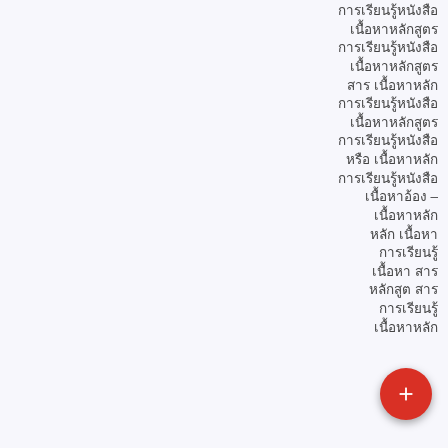Multi-line right-aligned text in a non-Latin script (Thai/similar), with a red floating action button overlay.